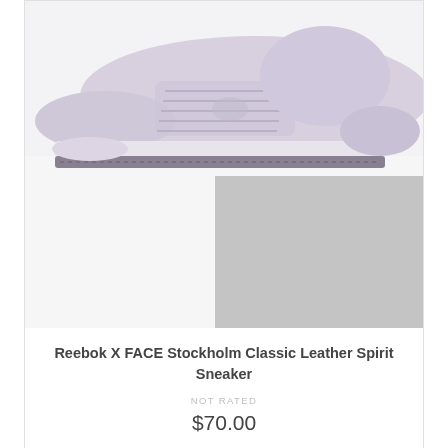[Figure (photo): Product photo of a lavender/light purple Reebok Classic Leather Spirit sneaker placed on a white and grey stepped display surface. The shoe is shown from a top-angled view, cropped at the top of the page.]
Reebok X FACE Stockholm Classic Leather Spirit Sneaker
NOT RATED
$70.00
[Figure (photo): Partial view of another sneaker product at the bottom of the page, mostly cut off.]